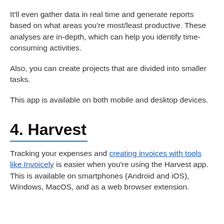It'll even gather data in real time and generate reports based on what areas you're most/least productive. These analyses are in-depth, which can help you identify time-consuming activities.
Also, you can create projects that are divided into smaller tasks.
This app is available on both mobile and desktop devices.
4. Harvest
Tracking your expenses and creating invoices with tools like Invoicely is easier when you're using the Harvest app. This is available on smartphones (Android and iOS), Windows, MacOS, and as a web browser extension.